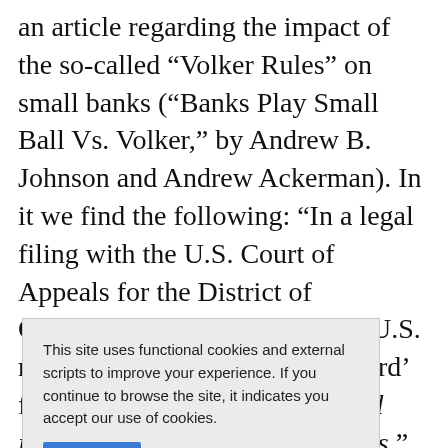an article regarding the impact of the so-called “Volker Rules” on small banks (“Banks Play Small Ball Vs. Volker,” by Andrew B. Johnson and Andrew Ackerman). In it we find the following: “In a legal filing with the U.S. Court of Appeals for the District of Columbia, the trade group said U.S. regulators showed ‘utter disregard’ for the costs the provision would impose on numerous small banks.” [emphasis added]
...me of the ...ed over the ...he Global ...ls ...response ...at would be realized by firms to provide compliant